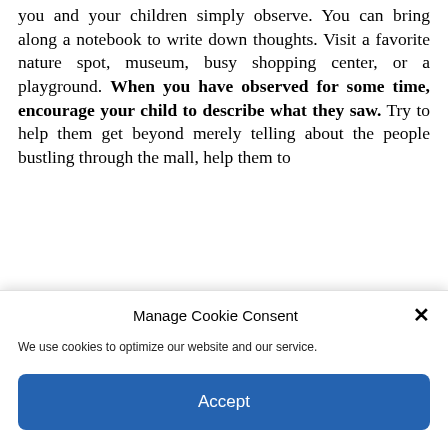you and your children simply observe. You can bring along a notebook to write down thoughts. Visit a favorite nature spot, museum, busy shopping center, or a playground. When you have observed for some time, encourage your child to describe what they saw. Try to help them get beyond merely telling about the people bustling through the mall, help them to express something deeper...
Manage Cookie Consent
We use cookies to optimize our website and our service.
Accept